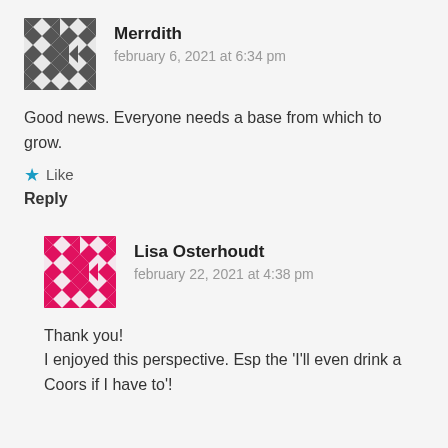[Figure (illustration): Dark grey geometric/mosaic avatar icon for user Merrdith]
Merrdith
february 6, 2021 at 6:34 pm
Good news. Everyone needs a base from which to grow.
★ Like
Reply
[Figure (illustration): Pink/magenta geometric/mosaic avatar icon for user Lisa Osterhoudt]
Lisa Osterhoudt
february 22, 2021 at 4:38 pm
Thank you!
I enjoyed this perspective. Esp the 'I'll even drink a Coors if I have to'!